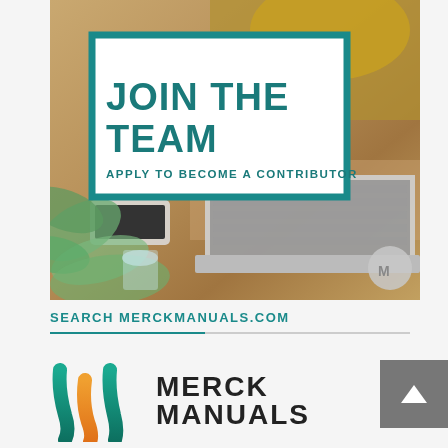[Figure (photo): Person in yellow shirt typing on laptop at wooden desk with phone and plants nearby. Overlay shows a white box with teal border containing 'JOIN THE TEAM' and 'APPLY TO BECOME A CONTRIBUTOR' text. Merck Manuals logo watermark in bottom right corner.]
SEARCH MERCKMANUALS.COM
[Figure (logo): Merck Manuals logo — stylized M shape in teal and orange colors, followed by 'MERCK MANUALS' text in bold dark letters]